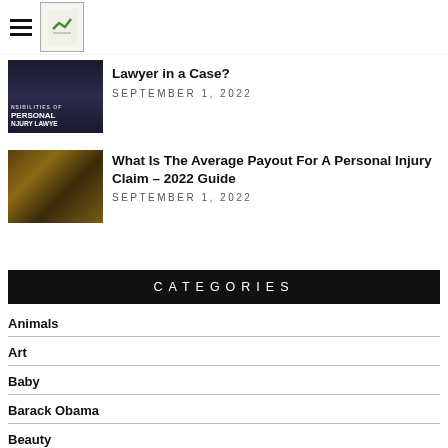Lawyer in a Case?
SEPTEMBER 1, 2022
[Figure (photo): Chalkboard with text 'Responsibilities of Personal Injury Lawyer']
What Is The Average Payout For A Personal Injury Claim – 2022 Guide
SEPTEMBER 1, 2022
[Figure (photo): Law books with caduceus medical symbol and gavel]
CATEGORIES
Animals
Art
Baby
Barack Obama
Beauty
blog